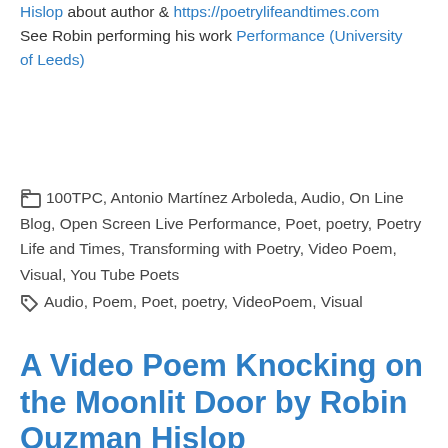Hislop about author & https://poetrylifeandtimes.com See Robin performing his work Performance (University of Leeds)
🗂 100TPC, Antonio Martínez Arboleda, Audio, On Line Blog, Open Screen Live Performance, Poet, poetry, Poetry Life and Times, Transforming with Poetry, Video Poem, Visual, You Tube Poets
🏷 Audio, Poem, Poet, poetry, VideoPoem, Visual
A Video Poem Knocking on the Moonlit Door by Robin Ouzman Hislop